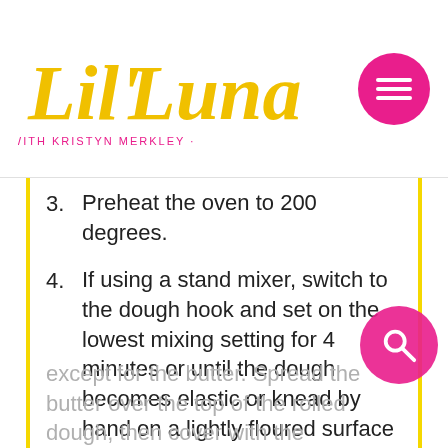Lil' Luna · with Kristyn Merkley
3. Preheat the oven to 200 degrees.
4. If using a stand mixer, switch to the dough hook and set on the lowest mixing setting for 4 minutes or until the dough becomes elastic or knead by hand on a lightly floured surface for 3-4 minutes. Cover the dough with plastic wrap and allow it to rest on the counter for 10 minutes.
5. Once the dough has rested, roll it out on a lightly floured surface until it measures a 24x16 inch rectangle. Prepare the filling by combining all of the ingredients in a small mixing bowl except for the butter. Spread the butter over the top of the rolled dough, then cover with the